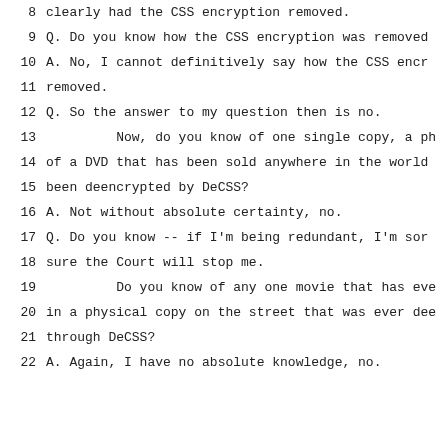8    clearly had the CSS encryption removed.
9    Q.  Do you know how the CSS encryption was removed
10   A.  No, I cannot definitively say how the CSS encr
11   removed.
12   Q.  So the answer to my question then is no.
13        Now, do you know of one single copy, a ph
14   of a DVD that has been sold anywhere in the world
15   been deencrypted by DeCSS?
16   A.  Not without absolute certainty, no.
17   Q.  Do you know -- if I'm being redundant, I'm sor
18   sure the Court will stop me.
19        Do you know of any one movie that has eve
20   in a physical copy on the street that was ever dee
21   through DeCSS?
22   A.  Again, I have no absolute knowledge, no.